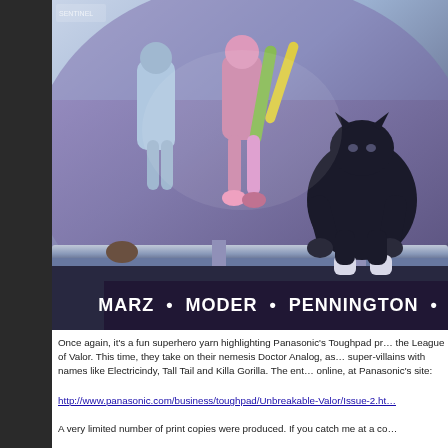[Figure (illustration): Comic book cover art showing superhero characters on a metallic surface. A dark-costumed panther-like hero crouches on the right, while other colorful superhero figures are visible in the background. Title credits at the bottom read: MARZ • MODER • PENNINGTON • ATIYE (partially cut off).]
Once again, it's a fun superhero yarn highlighting Panasonic's Toughpad pr… the League of Valor. This time, they take on their nemesis Doctor Analog, as… super-villains with names like Electricindy, Tall Tail and Killa Gorilla. The ent… online, at Panasonic's site:
http://www.panasonic.com/business/toughpad/Unbreakable-Valor/Issue-2.ht…
A very limited number of print copies were produced. If you catch me at a co…